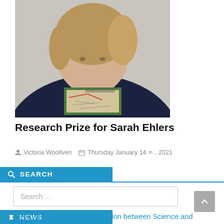[Figure (photo): Woman in dark navy top holding a green book/atlas against her chest, photographed from chest up, light background]
Research Prize for Sarah Ehlers
Victoria Woollven   Thursday January 14th, 2021
SEARCH
Search ...
NEWS
New Release: Evidence in Action between Science and